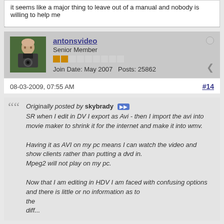it seems like a major thing to leave out of a manual and nobody is willing to help me
[Figure (photo): Avatar photo of antonsvideo, a man holding a camera]
antonsvideo
Senior Member
Join Date: May 2007   Posts: 25862
08-03-2009, 07:55 AM
#14
Originally posted by skybrady
SR when I edit in DV I export as Avi - then I import the avi into movie maker to shrink it for the internet and make it into wmv.

Having it as AVI on my pc means I can watch the video and show clients rather than putting a dvd in.
Mpeg2 will not play on my pc.

Now that I am editing in HDV I am faced with confusing options
and there is little or no information as to
the
diff...